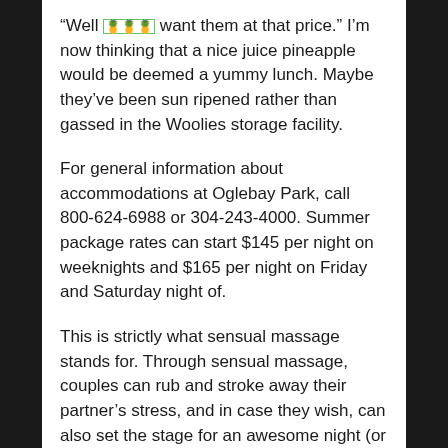“Well 🍍🍍🍍 want them at that price.” I’m now thinking that a nice juice pineapple would be deemed a yummy lunch. Maybe they’ve been sun ripened rather than gassed in the Woolies storage facility.
For general information about accommodations at Oglebay Park, call 800-624-6988 or 304-243-4000. Summer package rates can start $145 per night on weeknights and $165 per night on Friday and Saturday night of.
This is strictly what sensual massage stands for. Through sensual massage, couples can rub and stroke away their partner’s stress, and in case they wish, can also set the stage for an awesome night (or day, in cases where a prefer) of intimacy.